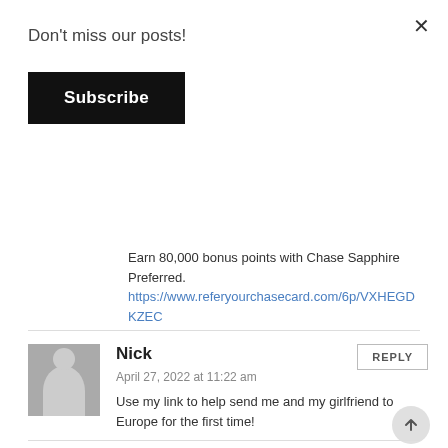Don't miss our posts!
Subscribe
Earn 80,000 bonus points with Chase Sapphire Preferred.
https://www.referyourchasecard.com/6p/VXHEGDKZEC
Nick
April 27, 2022 at 11:22 am
Use my link to help send me and my girlfriend to Europe for the first time!

https://www.referyourchasecard.com/6p/86DFYPVu4H
Daniel Braun